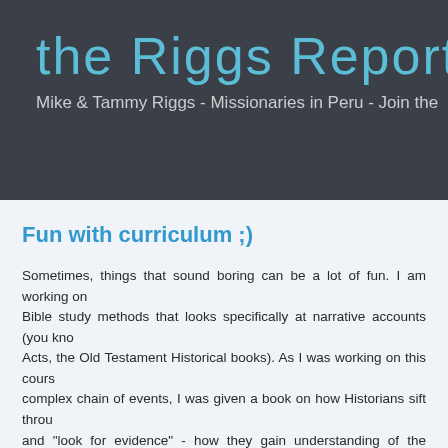the Riggs Report
Mike & Tammy Riggs - Missionaries in Peru - Join the
Fun with curriculum ;)
Sometimes, things that sound boring can be a lot of fun. I am working on a Bible study methods that looks specifically at narrative accounts (you know Acts, the Old Testament Historical books). As I was working on this course complex chain of events, I was given a book on how Historians sift through and "look for evidence" - how they gain understanding of the context. Now I have had courses in this from a Bible study perspective, but this ta and I am really excited as to how it really helps to flesh out - to bring to li myself not just preparing a course to teach, but learning again as well. I a course (or a conference or a sermon, etc.) but this is "fresher" and is ren historical books, that I confess I had come to undervalue in comparison t or didactic Prophets or Epistles.